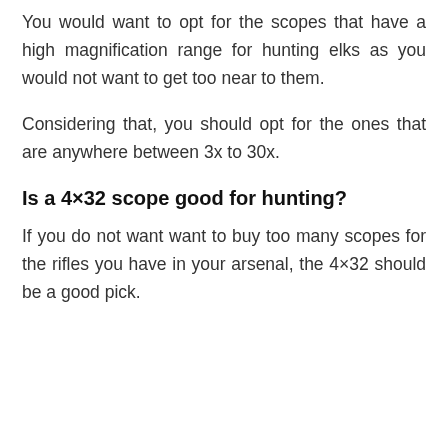You would want to opt for the scopes that have a high magnification range for hunting elks as you would not want to get too near to them.
Considering that, you should opt for the ones that are anywhere between 3x to 30x.
Is a 4×32 scope good for hunting?
If you do not want want to buy too many scopes for the rifles you have in your arsenal, the 4×32 should be a good pick.